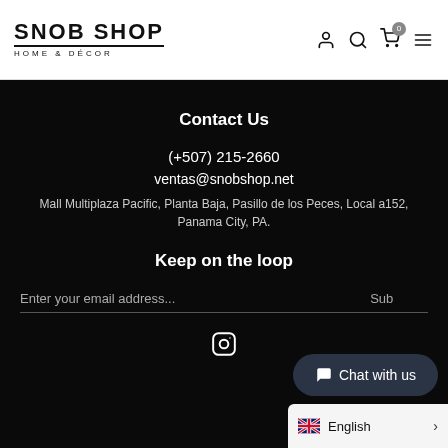SNOB SHOP HOME & DÉCOR
Contact Us
(+507) 215-2660
ventas@snobshop.net
Mall Multiplaza Pacific, Planta Baja, Pasillo de los Peces, Local a152, Panama City, PA.
Keep on the loop
Enter your email address...
Subscribe
[Figure (logo): Instagram icon]
Chat with us
English